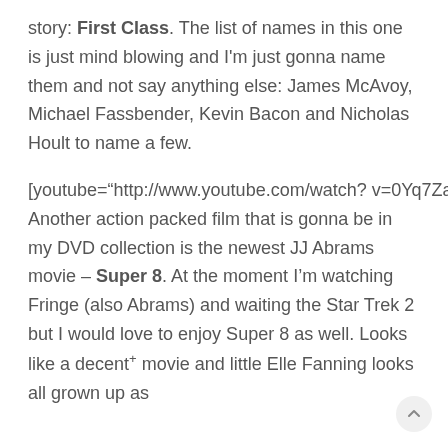story: First Class. The list of names in this one is just mind blowing and I'm just gonna name them and not say anything else: James McAvoy, Michael Fassbender, Kevin Bacon and Nicholas Hoult to name a few.
[youtube="http://www.youtube.com/watch?v=0Yq7Za1JnZg"] Another action packed film that is gonna be in my DVD collection is the newest JJ Abrams movie – Super 8. At the moment I'm watching Fringe (also Abrams) and waiting the Star Trek 2 but I would love to enjoy Super 8 as well. Looks like a decent movie and little Elle Fanning looks all grown up as